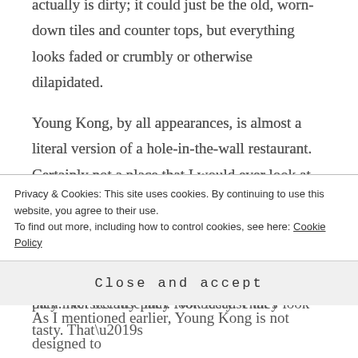You step inside and it just looks filthy. I'm not sure if it actually is dirty; it could just be the old, worn-down tiles and counter tops, but everything looks faded or crumbly or otherwise dilapidated.
Young Kong, by all appearances, is almost a literal version of a hole-in-the-wall restaurant. Certainly not a place that I would ever look at and think, “Now that looks good. I need to go there and try their food sometime!” No, no. But that’s the whole point of this journey. I go to places because they are there; they intersect my path. Not because they look tasty. That’s
Privacy & Cookies: This site uses cookies. By continuing to use this website, you agree to their use.
To find out more, including how to control cookies, see here: Cookie Policy
Close and accept
As I mentioned earlier, Young Kong is not designed to